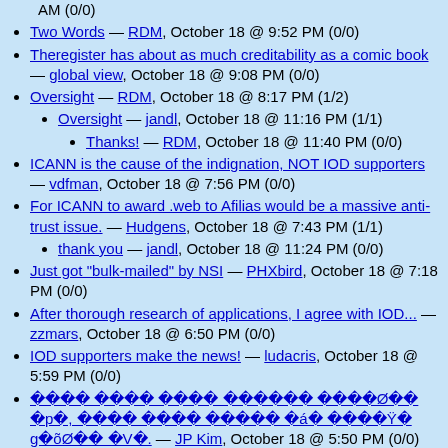AM (0/0)
Two Words — RDM, October 18 @ 9:52 PM (0/0)
Theregister has about as much creditability as a comic book — global view, October 18 @ 9:08 PM (0/0)
Oversight — RDM, October 18 @ 8:17 PM (1/2)
Oversight — jandl, October 18 @ 11:16 PM (1/1)
Thanks! — RDM, October 18 @ 11:40 PM (0/0)
ICANN is the cause of the indignation, NOT IOD supporters — vdfman, October 18 @ 7:56 PM (0/0)
For ICANN to award .web to Afilias would be a massive anti-trust issue. — Hudgens, October 18 @ 7:43 PM (1/1)
thank you — jandl, October 18 @ 11:24 PM (0/0)
Just got "bulk-mailed" by NSI — PHXbird, October 18 @ 7:18 PM (0/0)
After thorough research of applications, I agree with IOD... — zzmars, October 18 @ 6:50 PM (0/0)
IOD supporters make the news! — ludacris, October 18 @ 5:59 PM (0/0)
���� ���� ���� ������ ������ ›p›, ���› ���› ››››› ›á› ››››Ÿ› g›õÓ›› ›V›. — JP Kim, October 18 @ 5:50 PM (0/0)
Proposition to ICANN, Applicants & Internet